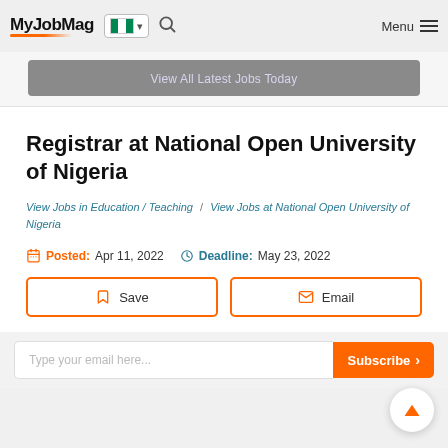MyJobMag — Menu
View All Latest Jobs Today
Registrar at National Open University of Nigeria
View Jobs in Education / Teaching  /  View Jobs at National Open University of Nigeria
Posted: Apr 11, 2022   Deadline: May 23, 2022
Save   Email
Type your email here...  Subscribe